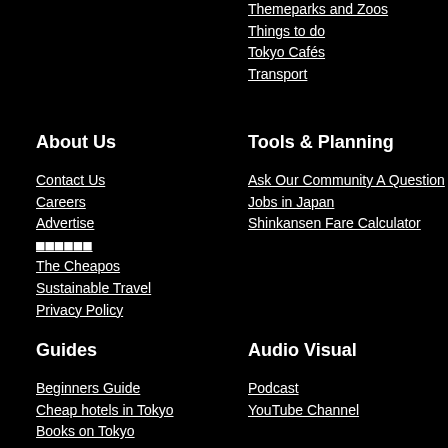Themeparks and Zoos
Things to do
Tokyo Cafés
Transport
About Us
Contact Us
Careers
Advertise
■■■■■■
The Cheapos
Sustainable Travel
Privacy Policy
Tools & Planning
Ask Our Community A Question
Jobs in Japan
Shinkansen Fare Calculator
Guides
Beginners Guide
Cheap hotels in Tokyo
Books on Tokyo
Audio Visual
Podcast
YouTube Channel